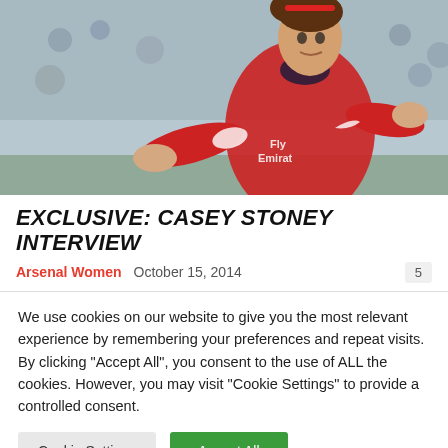[Figure (photo): Female Arsenal footballer in red Fly Emirates kit running on pitch, crowd in background]
EXCLUSIVE: CASEY STONEY INTERVIEW
Arsenal Women   October 15, 2014   5
We use cookies on our website to give you the most relevant experience by remembering your preferences and repeat visits. By clicking "Accept All", you consent to the use of ALL the cookies. However, you may visit "Cookie Settings" to provide a controlled consent.
Cookie Settings   Accept All